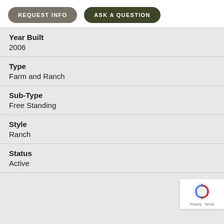[Figure (other): Two buttons: REQUEST INFO (grey-brown rounded pill) and ASK A QUESTION (dark olive rounded pill)]
Year Built
2006
Type
Farm and Ranch
Sub-Type
Free Standing
Style
Ranch
Status
Active